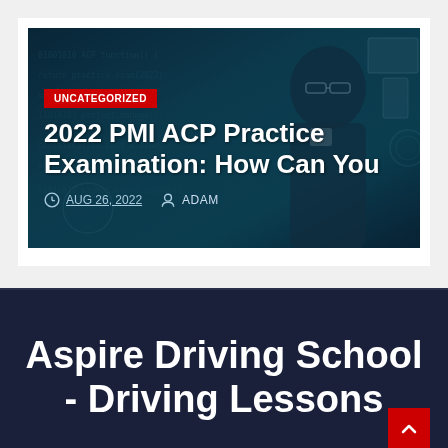[Figure (photo): Blog post card with dark teal photo of a person wearing glasses holding a mug, with digital/tech overlay visuals in the background]
UNCATEGORIZED
2022 PMI ACP Practice Examination: How Can You
AUG 26, 2022   ADAM
Aspire Driving School - Driving Lessons